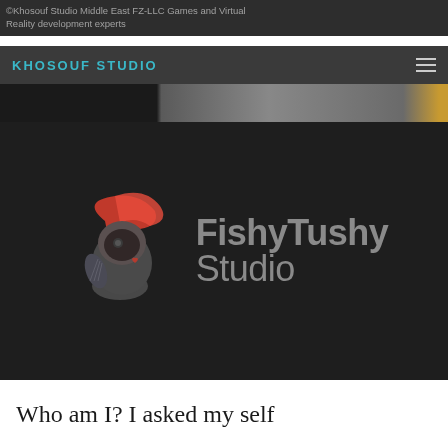©Khosouf Studio Middle East FZ-LLC Games and Virtual Reality development experts
KHOSOUF STUDIO
[Figure (logo): FishyTushy Studio logo: animated fish character with red hair/helmet on the left and 'FishyTushy Studio' text in grey on the right, set against a dark background]
Who am I? I asked my self